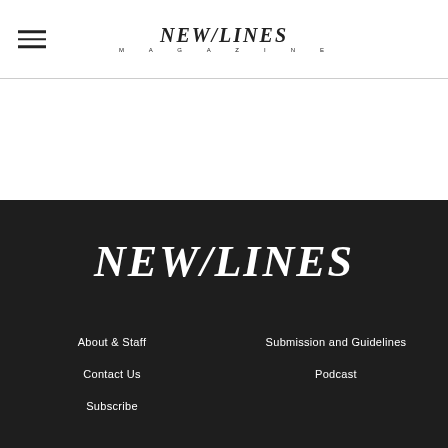NEW/LINES MAGAZINE
[Figure (logo): NEW/LINES MAGAZINE logo in large white serif/italic text on dark background]
About & Staff
Submission and Guidelines
Contact Us
Podcast
Subscribe